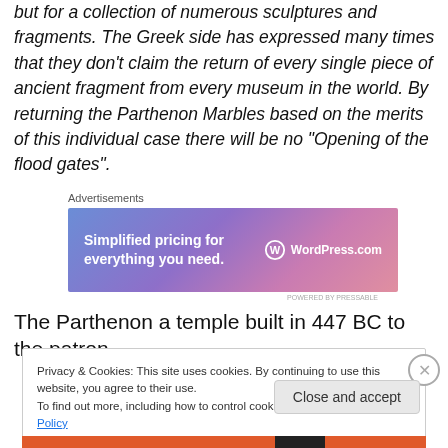but for a collection of numerous sculptures and fragments. The Greek side has expressed many times that they don't claim the return of every single piece of ancient fragment from every museum in the world. By returning the Parthenon Marbles based on the merits of this individual case there will be no “Opening of the flood gates”.
[Figure (other): WordPress.com advertisement banner with purple-pink gradient. Text reads: 'Simplified pricing for everything you need.' WordPress.com logo on right.]
The Parthenon a temple built in 447 BC to the patron
Privacy & Cookies: This site uses cookies. By continuing to use this website, you agree to their use.
To find out more, including how to control cookies, see here: Cookie Policy
Close and accept